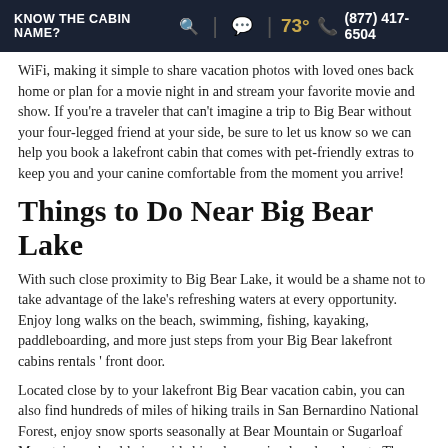KNOW THE CABIN NAME? 🔍 | 💬 | 73° 📞 (877) 417-6504
WiFi, making it simple to share vacation photos with loved ones back home or plan for a movie night in and stream your favorite movie and show. If you're a traveler that can't imagine a trip to Big Bear without your four-legged friend at your side, be sure to let us know so we can help you book a lakefront cabin that comes with pet-friendly extras to keep you and your canine comfortable from the moment you arrive!
Things to Do Near Big Bear Lake
With such close proximity to Big Bear Lake, it would be a shame not to take advantage of the lake's refreshing waters at every opportunity. Enjoy long walks on the beach, swimming, fishing, kayaking, paddleboarding, and more just steps from your Big Bear lakefront cabins rentals ' front door.
Located close by to your lakefront Big Bear vacation cabin, you can also find hundreds of miles of hiking trails in San Bernardino National Forest, enjoy snow sports seasonally at Bear Mountain or Sugarloaf Mountain, go bouldering, ride bicycles, or simply relax close to The Village.